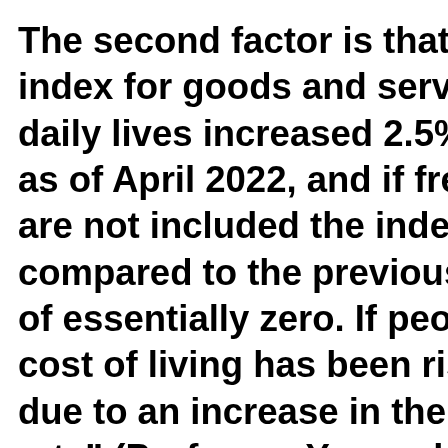The second factor is that the consumer price index for goods and services people use in their daily lives increased 2.5% overall year-on-year as of April 2022, and if fresh foods and energy are not included the index only rose 0.8% compared to the previous year, an increase of essentially zero. If people nonetheless feel the cost of living has been rising recently, it may be due to an increase in the "experience inflation rate" (Professor Yasuyuki Iida, Meiji University), which consumers notice easily due to rising costs for food and gasoline, which they